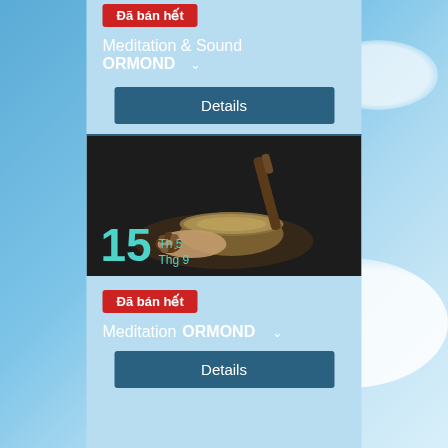Đã bán hết
Meditation & Sound
ORMOND ∨
Details
[Figure (photo): Person holding a singing bowl with a mallet, wearing a beaded bracelet. Dark background. Date overlay: 15 Th 5 Thg 9]
Đã bán hết
Meditation ORMOND ∨
Details